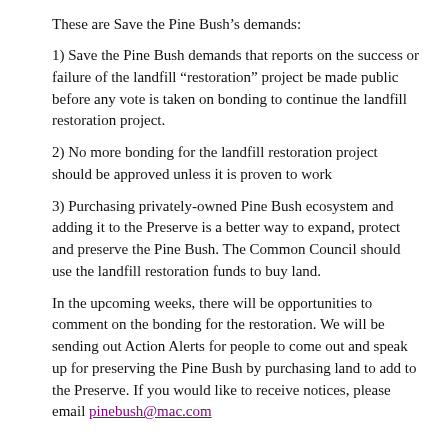These are Save the Pine Bush's demands:
1) Save the Pine Bush demands that reports on the success or failure of the landfill “restoration” project be made public before any vote is taken on bonding to continue the landfill restoration project.
2) No more bonding for the landfill restoration project should be approved unless it is proven to work
3) Purchasing privately-owned Pine Bush ecosystem and adding it to the Preserve is a better way to expand, protect and preserve the Pine Bush. The Common Council should use the landfill restoration funds to buy land.
In the upcoming weeks, there will be opportunities to comment on the bonding for the restoration. We will be sending out Action Alerts for people to come out and speak up for preserving the Pine Bush by purchasing land to add to the Preserve. If you would like to receive notices, please email pinebush@mac.com